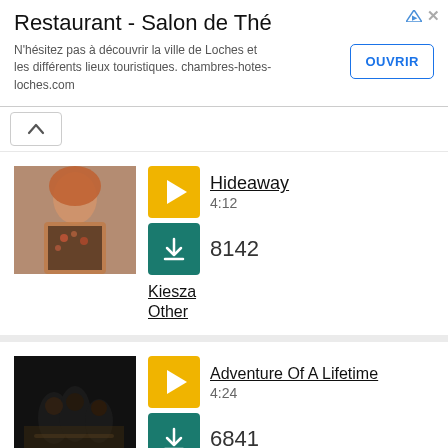[Figure (screenshot): Advertisement banner for Restaurant - Salon de Thé with OUVRIR button]
Restaurant - Salon de Thé
N'hésitez pas à découvrir la ville de Loches et les différents lieux touristiques. chambres-hotes-loches.com
[Figure (photo): Photo of Kiesza, a woman with curly red hair wearing a patterned jacket]
Hideaway
4:12
8142
Kiesza
Other
[Figure (photo): Dark photo of a band/group sitting on a dark background]
Adventure Of A Lifetime
4:24
6841